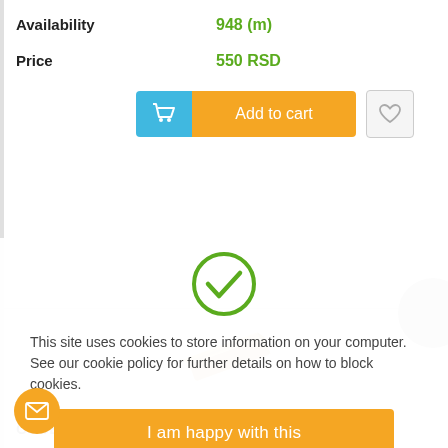Availability  948 (m)
Price  550 RSD
[Figure (infographic): Add to cart button with shopping cart icon (blue section) and orange text section, plus wishlist heart button]
[Figure (photo): Wooden plank/batten product photo shown at an angle on white background]
CODE  38*60*4
Proportions (mm)  38 x 60
[Figure (infographic): Green circle checkmark icon for cookie consent dialog]
This site uses cookies to store information on your computer. See our cookie policy for further details on how to block cookies.
[Figure (infographic): I am happy with this button - orange rounded rectangle cookie consent confirmation button]